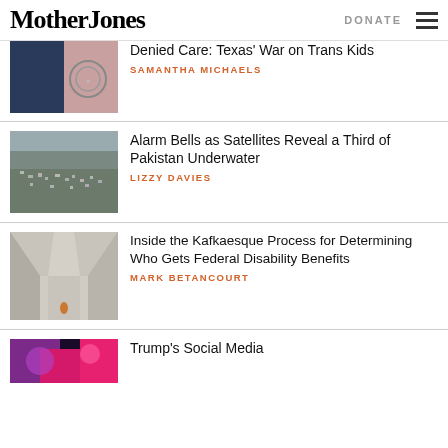Mother Jones | DONATE
[Figure (photo): Cropped close-up face and circular logo image for trans kids article]
Denied Care: Texas' War on Trans Kids
SAMANTHA MICHAELS
[Figure (photo): Aerial satellite view of flooded Pakistan, showing submerged villages]
Alarm Bells as Satellites Reveal a Third of Pakistan Underwater
LIZZY DAVIES
[Figure (photo): Looking down long hallway/stairwell with person at bottom]
Inside the Kafkaesque Process for Determining Who Gets Federal Disability Benefits
MARK BETANCOURT
[Figure (photo): Partial image with purple/pink lighting for Trump Social Media article]
Trump's Social Media